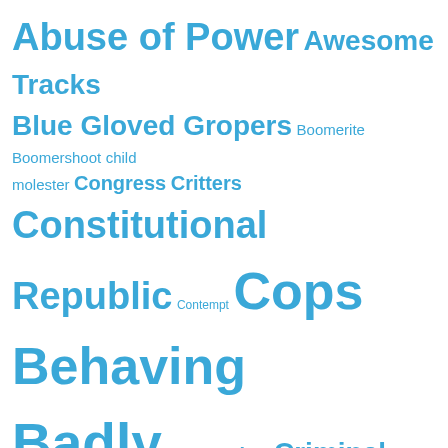[Figure (other): Tag cloud with various terms in different sizes, all in blue color. Terms include: Abuse of Power, Awesome Tracks, Blue Gloved Gropers, Boomerite, Boomershoot, child molester, Congress Critters, Constitutional Republic, Contempt, Cops Behaving Badly, Corruption, Criminal, Double Standard, Drug War, Economy, Explosion, Explosives, Fearless Leader, Firearms, Fireball, Freedom, Government Sponsored Terrorism, Grief of the Anti-Gunners, Hands of Blue, Hiding in Plain Sight, Idiot, Lack of Accountability, Laws For Thee Not For Me, Laws Gone Wild, police...]